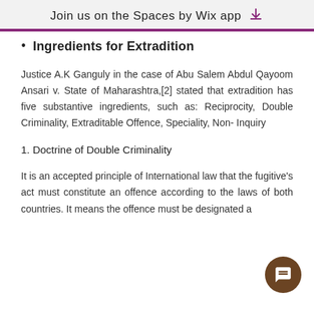Join us on the Spaces by Wix app
Ingredients for Extradition
Justice A.K Ganguly in the case of Abu Salem Abdul Qayoom Ansari v. State of Maharashtra,[2] stated that extradition has five substantive ingredients, such as: Reciprocity, Double Criminality, Extraditable Offence, Speciality, Non- Inquiry
1. Doctrine of Double Criminality
It is an accepted principle of International law that the fugitive's act must constitute an offence according to the laws of both countries. It means the offence must be designated a